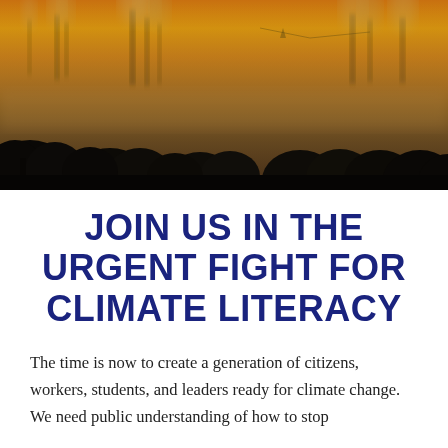[Figure (photo): Industrial landscape at dusk with factory smokestacks emitting large plumes of smoke/steam against an orange-yellow hazy sky, with dark silhouettes of trees in the foreground]
JOIN US IN THE URGENT FIGHT FOR CLIMATE LITERACY
The time is now to create a generation of citizens, workers, students, and leaders ready for climate change. We need public understanding of how to stop